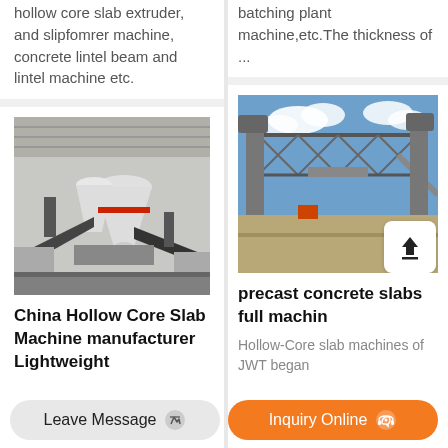hollow core slab extruder, and slipfomrer machine, concrete lintel beam and lintel machine etc.
batching plant machine,etc.The thickness of ...
[Figure (photo): Industrial machinery - hollow core slab machine with conveyor belts in a factory setting]
[Figure (photo): Industrial precast concrete equipment with large crane structure outdoors against blue sky]
China Hollow Core Slab Machine manufacturer Lightweight
precast concrete slabs full machin
Hollow-Core slab machines of JWT began